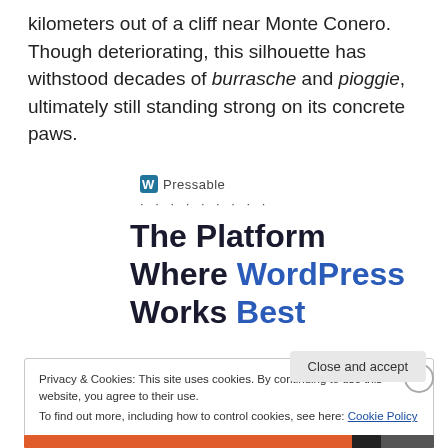kilometers out of a cliff near Monte Conero.  Though deteriorating, this silhouette has withstood decades of burrasche and pioggie, ultimately still standing strong on its concrete paws.
[Figure (logo): Pressable logo with WordPress icon and dotted separator line below]
The Platform Where WordPress Works Best
Privacy & Cookies: This site uses cookies. By continuing to use this website, you agree to their use.
To find out more, including how to control cookies, see here: Cookie Policy
Close and accept